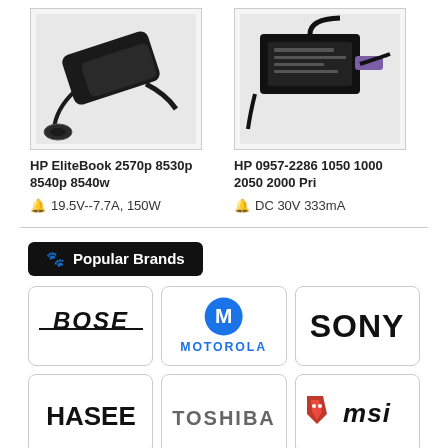[Figure (photo): HP EliteBook laptop power adapter/charger, black, on white background]
HP EliteBook 2570p 8530p 8540p 8540w
🔔 19.5V--7.7A, 150W
[Figure (photo): HP 0957-2286 printer power adapter with purple connector, black, on white background]
HP 0957-2286 1050 1000 2050 2000 Pri
🔔 DC 30V 333mA
🐾 Popular Brands
[Figure (logo): BOSE logo in black italic underlined text]
[Figure (logo): Motorola logo with blue M circle and blue MOTOROLA text]
[Figure (logo): SONY logo in black bold text]
[Figure (logo): HASEE logo in black bold text]
[Figure (logo): TOSHIBA logo in gray bold text]
[Figure (logo): MSI logo with red dragon shield icon and italic msi text]
[Figure (logo): Getac logo in black serif text]
[Figure (logo): HTC logo in green text]
[Figure (logo): HP logo gray 3D circle with HP letters]